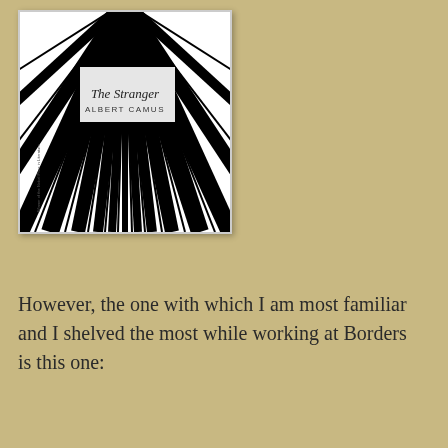[Figure (illustration): Book cover of 'The Stranger' by Albert Camus. White background with black radiating lines emanating from center-top, creating a sunburst/starburst pattern. Title 'The Stranger' in serif font near top center, 'ALBERT CAMUS' in small caps below it.]
However, the one with which I am most familiar and I shelved the most while working at Borders is this one: